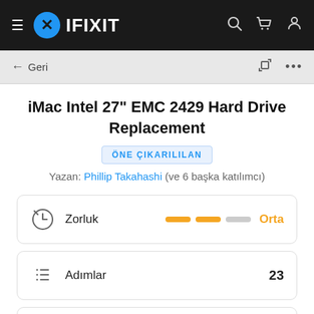[Figure (screenshot): iFixit website navigation bar with hamburger menu, blue circle logo with X, IFIXIT brand text in white on dark background, and search/cart/user icons on the right.]
[Figure (screenshot): Browser navigation bar with back arrow and 'Geri' text, expand icon and three-dots menu on the right, on light gray background.]
iMac Intel 27" EMC 2429 Hard Drive Replacement
ÖNE ÇIKARILLAN
Yazan: Phillip Takahashi (ve 6 başka katılımcı)
| Zorluk | Orta |
| Adımlar | 23 |